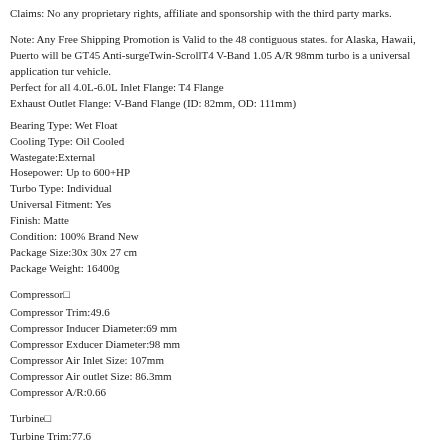Claims: No any proprietary rights, affiliate and sponsorship with the third party marks.
Note: Any Free Shipping Promotion is Valid to the 48 contiguous states. for Alaska, Hawaii, Puerto will be GT45 Anti-surge Twin-Scroll T4 V-Band 1.05 A/R 98mm turbo is a universal application turbo vehicle.
Perfect for all 4.0L-6.0L Inlet Flange: T4 Flange
Exhaust Outlet Flange: V-Band Flange (ID: 82mm, OD: 111mm)
Bearing Type: Wet Float
Cooling Type: Oil Cooled
Wastegate:External
Hosepower: Up to 600+HP
Turbo Type: Individual
Universal Fitment: Yes
Finish: Matte
Condition: 100% Brand New
Package Size:30x 30x 27 cm
Package Weight: 16400g
Compressor□
Compressor Trim:49.6
Compressor Inducer Diameter:69 mm
Compressor Exducer Diameter:98 mm
Compressor Air Inlet Size: 107mm
Compressor Air outlet Size: 86.3mm
Compressor A/R:0.66
Turbine□
Turbine Trim:77.6
Turbine Inducer Diameter:88 mm
Turbine Exducer Diameter:77.5 mm
Turbine A/R:1.05